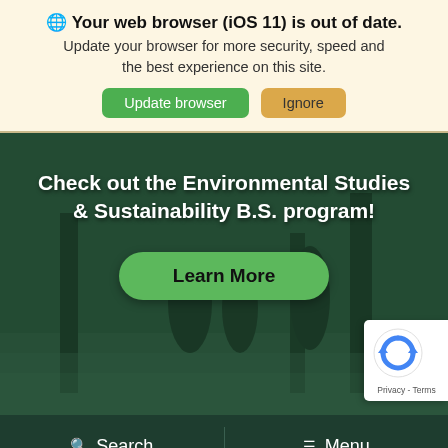🌐 Your web browser (iOS 11) is out of date. Update your browser for more security, speed and the best experience on this site.
[Figure (screenshot): Hero image of students in a snowy outdoor environment with a dark green overlay. Text overlay reads: 'Check out the Environmental Studies & Sustainability B.S. program!' with a green 'Learn More' button. A reCAPTCHA badge appears in the lower right corner.]
Search   Menu